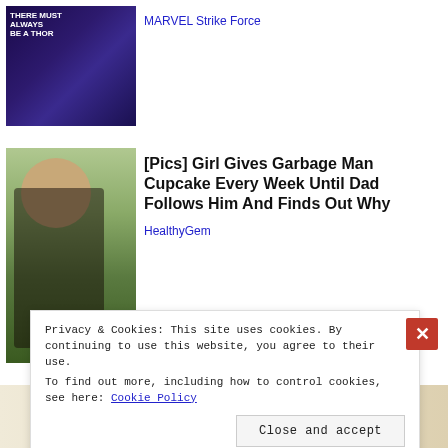[Figure (screenshot): Thumbnail image for MARVEL Strike Force article showing dark purple background with Thor text]
MARVEL Strike Force
[Figure (photo): Photo of man with young girl with pink bow in hair outdoors]
[Pics] Girl Gives Garbage Man Cupcake Every Week Until Dad Follows Him And Finds Out Why
HealthyGem
[Figure (photo): Advertisement image showing a modern luxury sectional sofa/couch]
Privacy & Cookies: This site uses cookies. By continuing to use this website, you agree to their use.
To find out more, including how to control cookies, see here: Cookie Policy
Close and accept